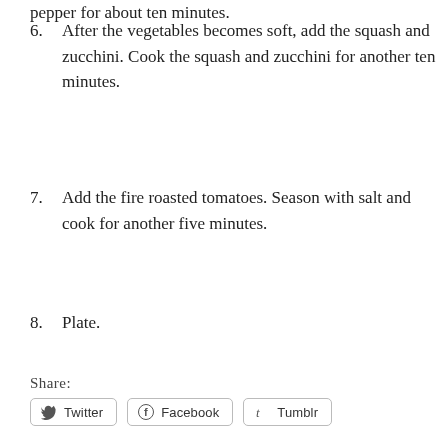pepper for about ten minutes.
6. After the vegetables becomes soft, add the squash and zucchini. Cook the squash and zucchini for another ten minutes.
7. Add the fire roasted tomatoes. Season with salt and cook for another five minutes.
8. Plate.
Share:
[Figure (other): Share buttons for Twitter, Facebook, and Tumblr]
Like this:
[Figure (other): Like button with star icon and two blogger avatars]
2 bloggers like this.